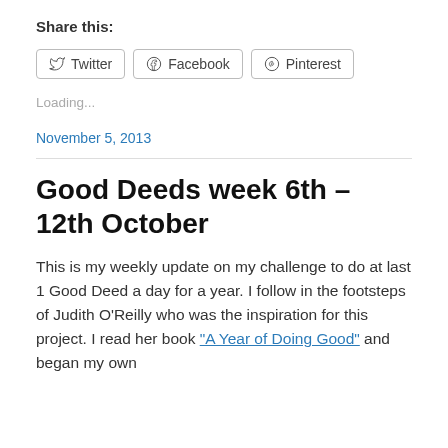Share this:
[Figure (other): Social sharing buttons for Twitter, Facebook, and Pinterest]
Loading...
November 5, 2013
Good Deeds week 6th – 12th October
This is my weekly update on my challenge to do at last 1 Good Deed a day for a year. I follow in the footsteps of Judith O'Reilly who was the inspiration for this project. I read her book "A Year of Doing Good" and began my own